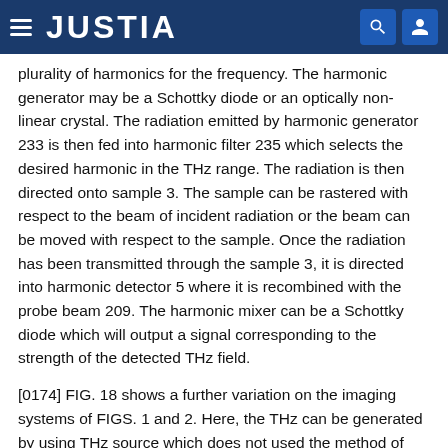JUSTIA
plurality of harmonics for the frequency. The harmonic generator may be a Schottky diode or an optically non-linear crystal. The radiation emitted by harmonic generator 233 is then fed into harmonic filter 235 which selects the desired harmonic in the THz range. The radiation is then directed onto sample 3. The sample can be rastered with respect to the beam of incident radiation or the beam can be moved with respect to the sample. Once the radiation has been transmitted through the sample 3, it is directed into harmonic detector 5 where it is recombined with the probe beam 209. The harmonic mixer can be a Schottky diode which will output a signal corresponding to the strength of the detected THz field.
[0174] FIG. 18 shows a further variation on the imaging systems of FIGS. 1 and 2. Here, the THz can be generated by using THz source which does not used the method of